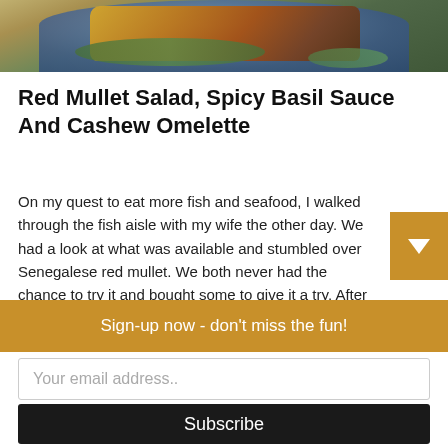[Figure (photo): Top portion of a food dish - red mullet with salad on a decorative blue plate, viewed from above, shown partially cropped at top of page]
Red Mullet Salad, Spicy Basil Sauce And Cashew Omelette
On my quest to eat more fish and seafood, I walked through the fish aisle with my wife the other day. We had a look at what was available and stumbled over Senegalese red mullet. We both never had the chance to try it and bought some to give it a try. After some research and inspiration, I created a red mullet salad with a spicy basil sauce and a cashew omelette.
Sign-up now - don't miss the fun!
Your email address..
Subscribe